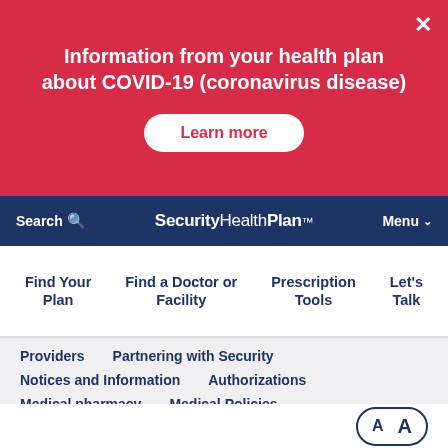Information from your health plan about COVID-19 (coronavirus disease)
Learn more
Search  SecurityHealthPlan.  Menu
Find Your Plan
Find a Doctor or Facility
Prescription Tools
Let's Talk
Providers
Partnering with Security
Notices and Information
Authorizations
Medical pharmacy
Medical Policies
Tools and Resources
Document Library
Provider Manual
A  A